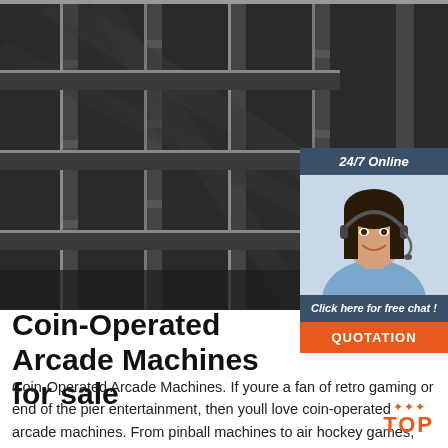[Figure (photo): Close-up photograph of dark metal H-beams or structural steel channels stacked and overlapping, seen from below at an angle. Monochrome/dark industrial image.]
[Figure (photo): 24/7 Online chat widget showing a smiling woman with a headset, a dark blue header reading '24/7 Online', a 'Click here for free chat!' section, and an orange 'QUOTATION' button.]
Coin-Operated Arcade Machines for sale
Coin-Operated Arcade Machines. If youre a fan of retro gaming or end of the pier entertainment, then youll love coin-operated arcade machines. From pinball machines to air hockey games, these machines dont just belong in amusement arcades, theyll create a unique focal point in your home too.
[Figure (other): Orange 'TOP' button with decorative dots above, linking back to top of page.]